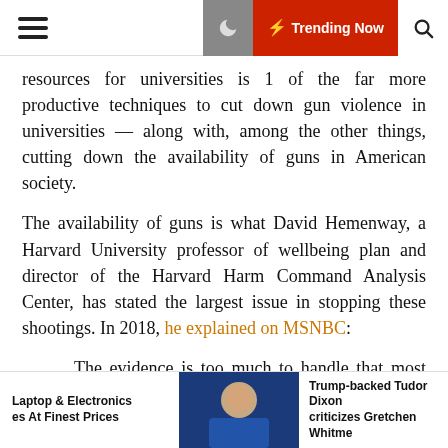☰ 🌙 ⚡ Trending Now 🔍
resources for universities is 1 of the far more productive techniques to cut down gun violence in universities — along with, among the other things, cutting down the availability of guns in American society.
The availability of guns is what David Hemenway, a Harvard University professor of wellbeing plan and director of the Harvard Harm Command Analysis Center, has stated the largest issue in stopping these shootings. In 2018, he explained on MSNBC:
The evidence is too much to handle that most homicides never have anything at all immediately to do with mental wellbeing complications. If you glimpse across all the 26 industrialized democracies, none of these other countries have our gun problems about homicides, about faculty
Laptop & Electronics es At Finest Prices | Trump-backed Tudor Dixon criticizes Gretchen Whitme